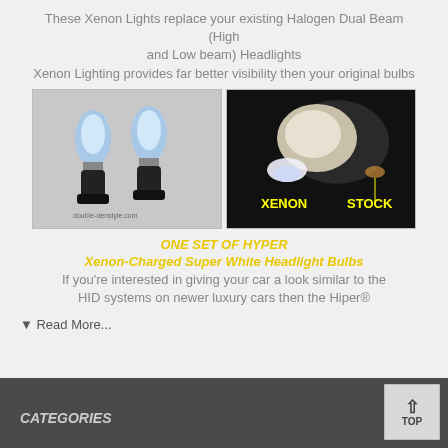These Xenon Lights replace your existing Halogen Dual Beam (High and Low beam) Headlights
Xenon Lighting provides far better visibility then your original bulbs
[Figure (photo): Two blue-tinted halogen headlight bulbs on white background (left), and a comparison photo showing XENON vs STOCK light output on black background (right)]
ONE SET OF HYPER
Xenon-Charged Super White Headlight Bulbs
If you're interested in giving your car a look similar to the HID systems on newer luxury cars then the Hiper®
▼ Read More...
CATEGORIES
[Figure (other): TOP button with upward arrow]